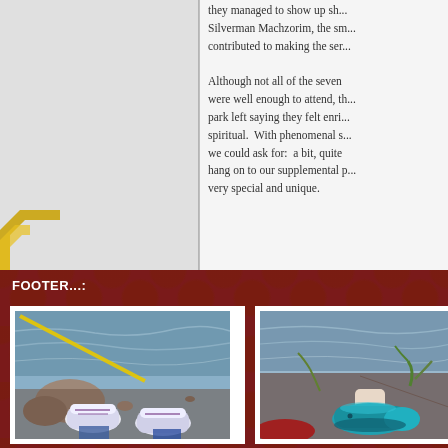they managed to show up sh... Silverman Machzorim, the sm... contributed to making the ser...
Although not all of the seven... were well enough to attend, th... park left saying they felt enri... spiritual.  With phenomenal s... we could ask for:  a bit, quite... hang on to our supplemental p... very special and unique.
FOOTER...:
[Figure (photo): Photo of white sneakers/shoes viewed from above near a rocky creek with flowing water. Yellow tape measure visible.]
[Figure (photo): Photo of a teal/turquoise shoe viewed from above near a creek with flowing water and plants visible.]